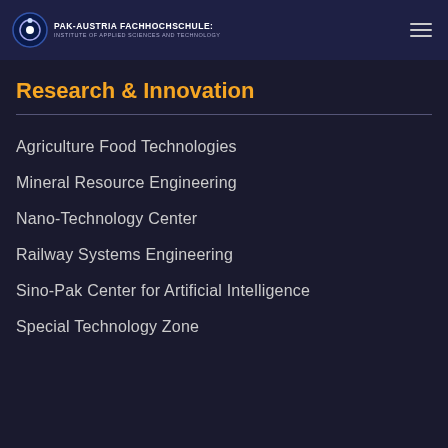PAK-AUSTRIA FACHHOCHSCHULE: INSTITUTE OF APPLIED SCIENCES AND TECHNOLOGY
Research & Innovation
Agriculture Food Technologies
Mineral Resource Engineering
Nano-Technology Center
Railway Systems Engineering
Sino-Pak Center for Artificial Intelligence
Special Technology Zone